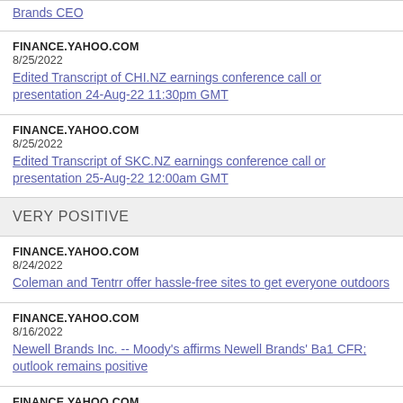Brands CEO
FINANCE.YAHOO.COM
8/25/2022
Edited Transcript of CHI.NZ earnings conference call or presentation 24-Aug-22 11:30pm GMT
FINANCE.YAHOO.COM
8/25/2022
Edited Transcript of SKC.NZ earnings conference call or presentation 25-Aug-22 12:00am GMT
VERY POSITIVE
FINANCE.YAHOO.COM
8/24/2022
Coleman and Tentrr offer hassle-free sites to get everyone outdoors
FINANCE.YAHOO.COM
8/16/2022
Newell Brands Inc. -- Moody's affirms Newell Brands' Ba1 CFR; outlook remains positive
FINANCE.YAHOO.COM
8/9/2022